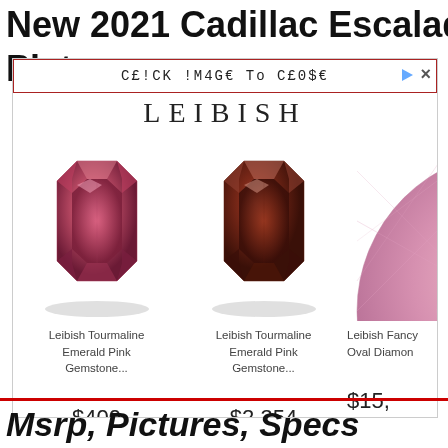New 2021 Cadillac Escalade
Plat... s
[Figure (screenshot): Leibish jewelry advertisement overlay showing three gemstone products: two Leibish Tourmaline Emerald Pink Gemstones and a partially visible Leibish Fancy Oval Diamond. Prices shown: $400, $2,354, $15,...]
Msrp, Pictures, Specs